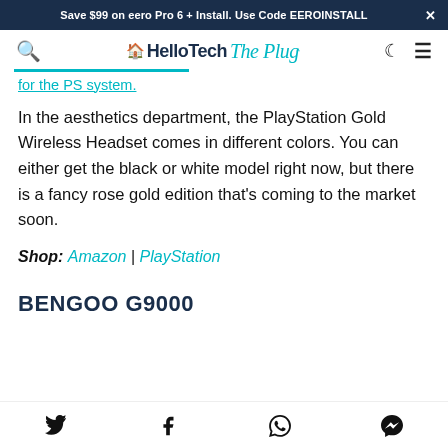Save $99 on eero Pro 6 + Install. Use Code EEROINSTALL ×
HelloTech The Plug
for the PS system.
In the aesthetics department, the PlayStation Gold Wireless Headset comes in different colors. You can either get the black or white model right now, but there is a fancy rose gold edition that's coming to the market soon.
Shop: Amazon | PlayStation
BENGOO G9000
Share icons: Twitter, Facebook, WhatsApp, Messenger